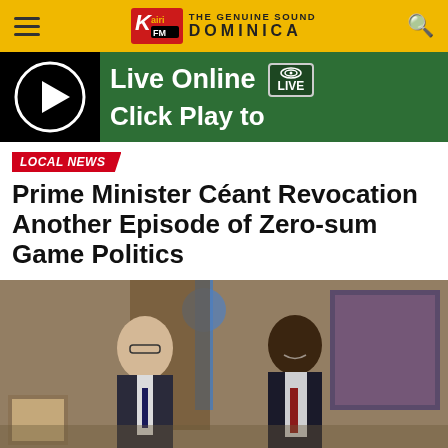Kairi FM — THE GENUINE SOUND DOMINICA
[Figure (screenshot): Live Online radio player banner with green background, play button circle, and LIVE badge. Text: 'Live Online Click Play to']
LOCAL NEWS
Prime Minister Céant Revocation Another Episode of Zero-sum Game Politics
[Figure (photo): Two men in suits shaking hands or posing together indoors. A blue flag (appears to be OAS/UN) is visible in background along with a painting and wooden paneling.]